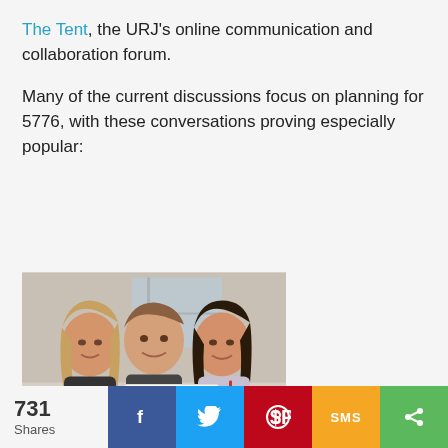The Tent, the URJ's online communication and collaboration forum.
Many of the current discussions focus on planning for 5776, with these conversations proving especially popular:
[Figure (photo): Three smiling teenagers posing together; the middle one holds a handwritten sign reading 'Welcome Home'.]
731 Shares